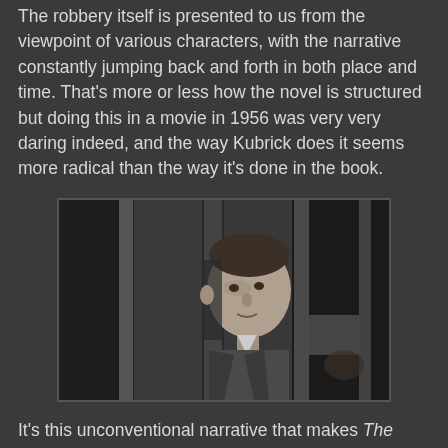The robbery itself is presented to us from the viewpoint of various characters, with the narrative constantly jumping back and forth in both place and time. That's more or less how the novel is structured but doing this in a movie in 1956 was very very daring indeed, and the way Kubrick does it seems more radical than the way it's done in the book.
[Figure (photo): Black and white film still showing a man in a suit and tie looking through vertical bars or a gate, reminiscent of a prison or cage scene. The image is from the 1956 Kubrick film The Killing.]
It's this unconventional narrative that makes The Killing such an important and striking movie. This was Kubrick, still inexperienced and still in his twenties, serving notice that he was going to start breaking cinematic rules in a big way. In